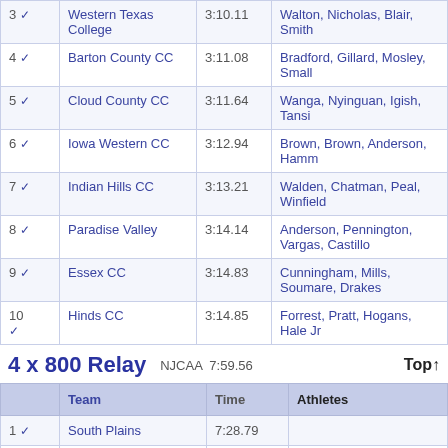| # | Team | Time | Athletes |
| --- | --- | --- | --- |
| 3 ✓ | Western Texas College | 3:10.11 | Walton, Nicholas, Blair, Smith |
| 4 ✓ | Barton County CC | 3:11.08 | Bradford, Gillard, Mosley, Small |
| 5 ✓ | Cloud County CC | 3:11.64 | Wanga, Nyinguan, Igish, Tansi |
| 6 ✓ | Iowa Western CC | 3:12.94 | Brown, Brown, Anderson, Hamm |
| 7 ✓ | Indian Hills CC | 3:13.21 | Walden, Chatman, Peal, Winfield |
| 8 ✓ | Paradise Valley | 3:14.14 | Anderson, Pennington, Vargas, Castillo |
| 9 ✓ | Essex CC | 3:14.83 | Cunningham, Mills, Soumare, Drakes |
| 10 ✓ | Hinds CC | 3:14.85 | Forrest, Pratt, Hogans, Hale Jr |
4 x 800 Relay   NJCAA  7:59.56   Top↑
|  | Team | Time | Athletes |
| --- | --- | --- | --- |
| 1 ✓ | South Plains | 7:28.79 |  |
| 2 ✓ | Indian Hills CC | 7:49.51 |  |